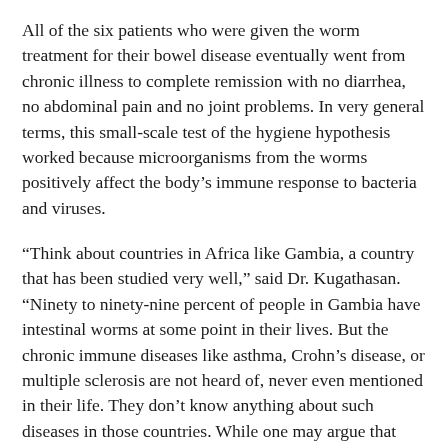All of the six patients who were given the worm treatment for their bowel disease eventually went from chronic illness to complete remission with no diarrhea, no abdominal pain and no joint problems. In very general terms, this small-scale test of the hygiene hypothesis worked because microorganisms from the worms positively affect the body's immune response to bacteria and viruses.
“Think about countries in Africa like Gambia, a country that has been studied very well,” said Dr. Kugathasan. “Ninety to ninety-nine percent of people in Gambia have intestinal worms at some point in their lives. But the chronic immune diseases like asthma, Crohn’s disease, or multiple sclerosis are not heard of, never even mentioned in their life. They don’t know anything about such diseases in those countries. While one may argue that maybe their population is genetically not predisposed to these diseases, other factors appear to be in play.”